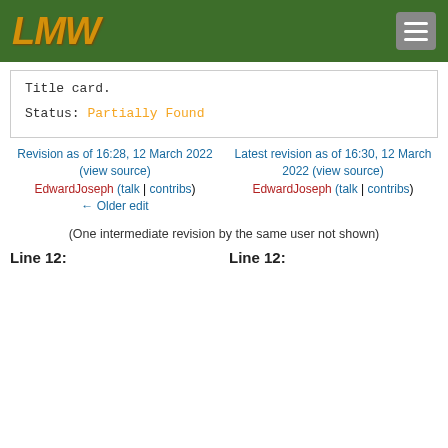LMW (logo) with hamburger menu
Title card.
Status: Partially Found
Revision as of 16:28, 12 March 2022 (view source) EdwardJoseph (talk | contribs) ← Older edit
Latest revision as of 16:30, 12 March 2022 (view source) EdwardJoseph (talk | contribs)
(One intermediate revision by the same user not shown)
Line 12:
Line 12: